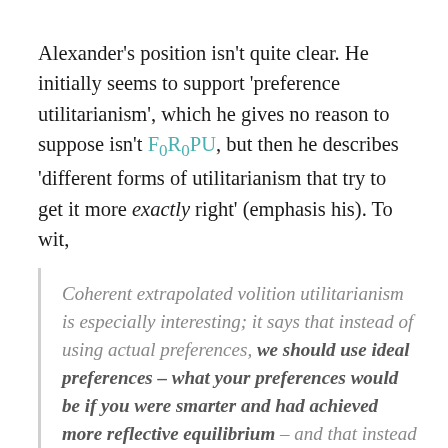Alexander's position isn't quite clear. He initially seems to support 'preference utilitarianism', which he gives no reason to suppose isn't F₀R₀PU, but then he describes 'different forms of utilitarianism that try to get it more exactly right' (emphasis his). To wit,
Coherent extrapolated volition utilitarianism is especially interesting; it says that instead of using actual preferences, we should use ideal preferences – what your preferences would be if you were smarter and had achieved more reflective equilibrium – and that instead of having to calculate each person's preference